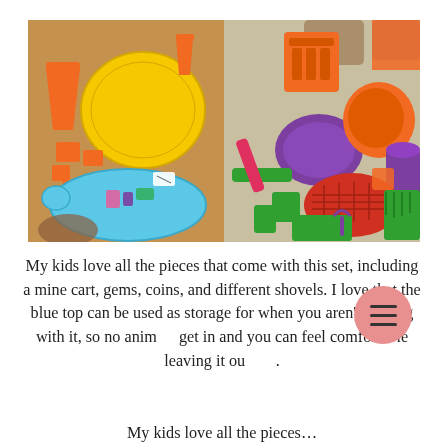[Figure (photo): Two side-by-side photos of colorful children's sand/beach toy sets. Left photo shows orange sand molds, a yellow circular mold, a blue turtle-shaped tray with a child examining items. Right photo shows colorful toys including orange, purple, red, and green pieces scattered on a carpet with a child's hands visible.]
My kids love all the pieces that come with this set, including a mine cart, gems, coins, and different shovels. I love that the blue top can be used as storage for when you aren't playing with it, so no animals get in and you can feel comfortable leaving it outside.
...